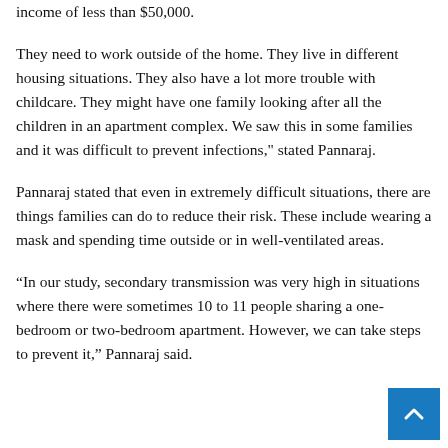income of less than $50,000.
They need to work outside of the home. They live in different housing situations. They also have a lot more trouble with childcare. They might have one family looking after all the children in an apartment complex. We saw this in some families and it was difficult to prevent infections," stated Pannaraj.
Pannaraj stated that even in extremely difficult situations, there are things families can do to reduce their risk. These include wearing a mask and spending time outside or in well-ventilated areas.
“In our study, secondary transmission was very high in situations where there were sometimes 10 to 11 people sharing a one-bedroom or two-bedroom apartment. However, we can take steps to prevent it,” Pannaraj said.